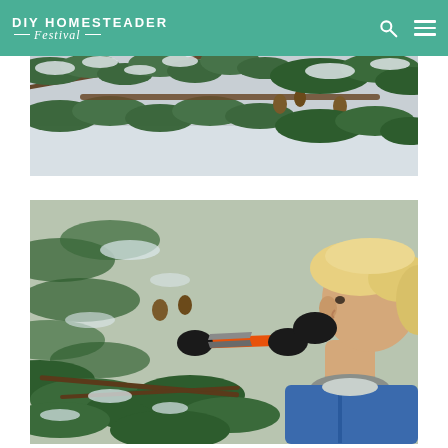DIY HOMESTEADER Festival
[Figure (photo): Close-up of snow-covered pine tree branches with pine cones, outdoor winter scene]
[Figure (photo): Young blonde child in blue winter jacket using red-handled pruning shears or scissors to cut pine branches in a snowy forest]